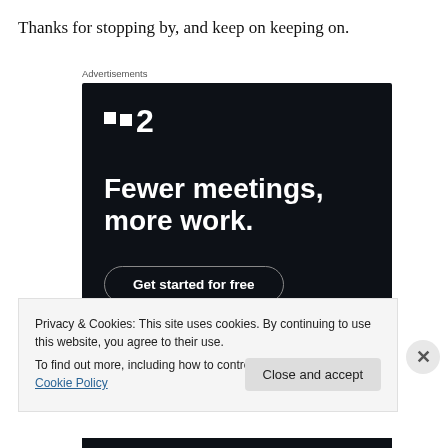Thanks for stopping by, and keep on keeping on.
Advertisements
[Figure (other): Advertisement banner for a product called F2 (Fewer meetings, more work). Dark background with white bold text. Includes a 'Get started for free' button with rounded border.]
Privacy & Cookies: This site uses cookies. By continuing to use this website, you agree to their use.
To find out more, including how to control cookies, see here: Cookie Policy